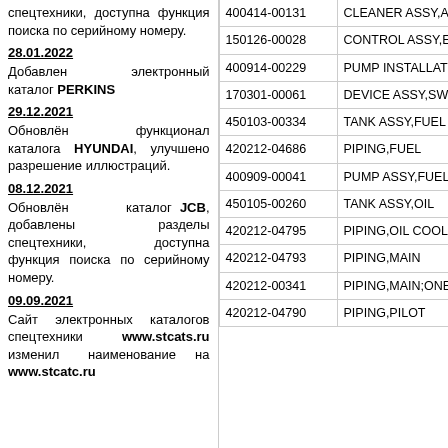спецтехники, доступна функция поиска по серийному номеру.
28.01.2022
Добавлен электронный каталог PERKINS
29.12.2021
Обновлён функционал каталога HYUNDAI, улучшено разрешение иллюстраций.
08.12.2021
Обновлён каталог JCB, добавлены разделы спецтехники, доступна функция поиска по серийному номеру.
09.09.2021
Сайт электронных каталогов спецтехники www.stcats.ru изменил наименование на www.stcatc.ru
| Part Number | Description |
| --- | --- |
| 400414-00131 | CLEANER ASSY,AIR |
| 150126-00028 | CONTROL ASSY,ENGIN |
| 400914-00229 | PUMP INSTALLATION A |
| 170301-00061 | DEVICE ASSY,SWING |
| 450103-00334 | TANK ASSY,FUEL |
| 420212-04686 | PIPING,FUEL |
| 400909-00041 | PUMP ASSY,FUEL FILLE |
| 450105-00260 | TANK ASSY,OIL |
| 420212-04795 | PIPING,OIL COOLER |
| 420212-04793 | PIPING,MAIN |
| 420212-00341 | PIPING,MAIN;ONE WAY |
| 420212-04790 | PIPING,PILOT |